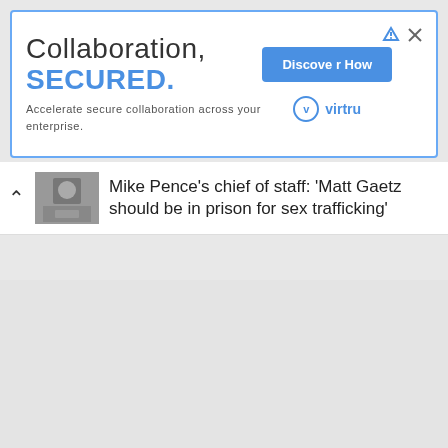[Figure (other): Advertisement banner for Virtru with blue border. Shows 'Collaboration, SECURED.' headline with 'Discover How' button and Virtru logo.]
Mike Pence's chief of staff: 'Matt Gaetz should be in prison for sex trafficking'
[Figure (photo): Small news thumbnail showing a person in a suit]